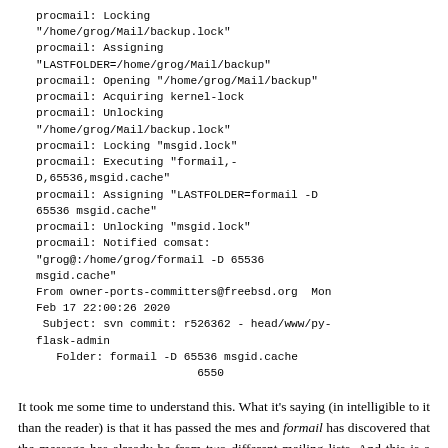procmail: Locking "/home/grog/Mail/backup.lock"
procmail: Assigning "LASTFOLDER=/home/grog/Mail/backup"
procmail: Opening "/home/grog/Mail/backup"
procmail: Acquiring kernel-lock
procmail: Unlocking "/home/grog/Mail/backup.lock"
procmail: Locking "msgid.lock"
procmail: Executing "formail,-D,65536,msgid.cache"
procmail: Assigning "LASTFOLDER=formail -D 65536 msgid.cache"
procmail: Unlocking "msgid.lock"
procmail: Notified comsat: "grog@:/home/grog/formail -D 65536 msgid.cache"
From owner-ports-committers@freebsd.org  Mon Feb 17 22:00:26 2020
 Subject: svn commit: r526362 - head/www/py-flask-admin
   Folder: formail -D 65536 msgid.cache
                        6550
It took me some time to understand this. What it's saying (in intelligible to it than the reader) is that it has passed the mes and formail has discovered that the message has already be from two different mailing lists. And this is a feature, not a bug: duplicate mail messages.